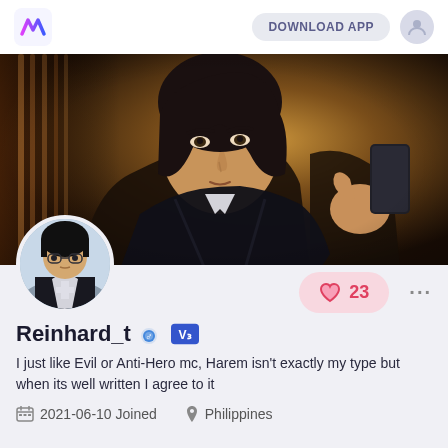DOWNLOAD APP
[Figure (illustration): Anime character close-up: dark-haired male character in black outfit holding a dark object, with warm amber/golden background]
[Figure (photo): Circular avatar profile picture of an anime male character wearing glasses and a black uniform with a cross emblem]
23
Reinhard_t
I just like Evil or Anti-Hero mc, Harem isn't exactly my type but when its well written I agree to it
2021-06-10 Joined   Philippines